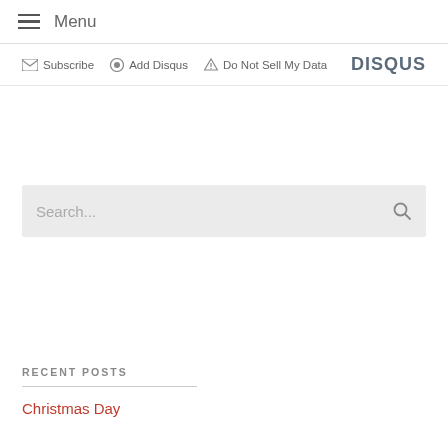Menu
Subscribe  Add Disqus  Do Not Sell My Data  DISQUS
[Figure (other): Search bar with placeholder text 'Search...' and a search icon on the right]
RECENT POSTS
Christmas Day